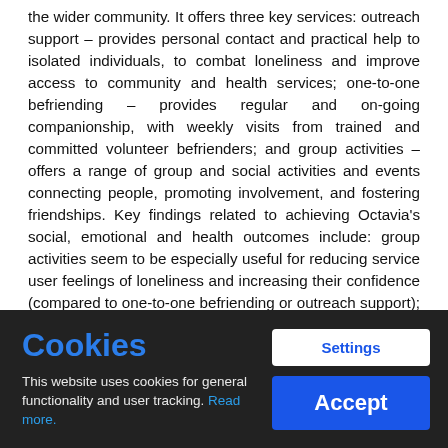the wider community. It offers three key services: outreach support – provides personal contact and practical help to isolated individuals, to combat loneliness and improve access to community and health services; one-to-one befriending – provides regular and on-going companionship, with weekly visits from trained and committed volunteer befrienders; and group activities – offers a range of group and social activities and events connecting people, promoting involvement, and fostering friendships. Key findings related to achieving Octavia's social, emotional and health outcomes include: group activities seem to be especially useful for reducing service user feelings of loneliness and increasing their confidence (compared to one-to-one befriending or outreach support); outreach workers and one-to-one befrienders play a bigger role in supporting
Cookies
This website uses cookies for general functionality and user tracking. Read more.